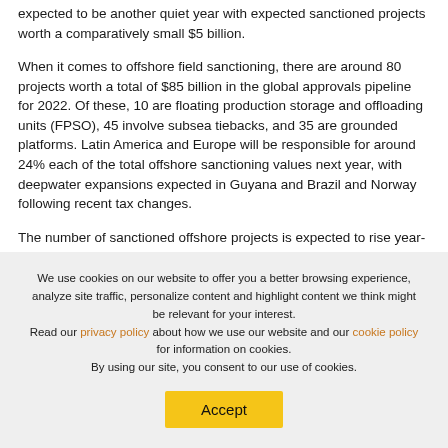expected to be another quiet year with expected sanctioned projects worth a comparatively small $5 billion.
When it comes to offshore field sanctioning, there are around 80 projects worth a total of $85 billion in the global approvals pipeline for 2022. Of these, 10 are floating production storage and offloading units (FPSO), 45 involve subsea tiebacks, and 35 are grounded platforms. Latin America and Europe will be responsible for around 24% each of the total offshore sanctioning values next year, with deepwater expansions expected in Guyana and Brazil and Norway following recent tax changes.
The number of sanctioned offshore projects is expected to rise year-over-year but will remain little changed when measured
We use cookies on our website to offer you a better browsing experience, analyze site traffic, personalize content and highlight content we think might be relevant for your interest. Read our privacy policy about how we use our website and our cookie policy for information on cookies. By using our site, you consent to our use of cookies.